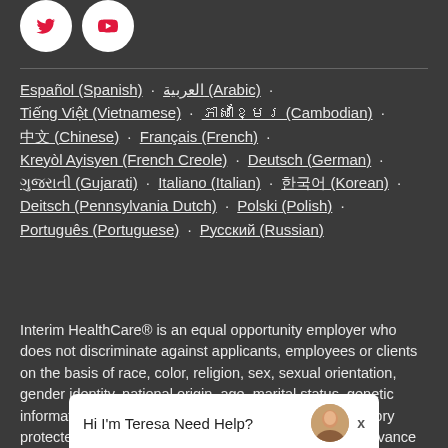[Figure (logo): Twitter and YouTube social media icons (circular white background with red logos)]
Español (Spanish) · العربية (Arabic) · Tiếng Việt (Vietnamese) · ភាសាខ្មែរ (Cambodian) · 中文 (Chinese) · Français (French) · Kreyòl Ayisyen (French Creole) · Deutsch (German) · ગુજરાતી (Gujarati) · Italiano (Italian) · 한국어 (Korean) · Deitsch (Pennsylvania Dutch) · Polski (Polish) · Português (Portuguese) · Русский (Russian)
Interim HealthCare® is an equal opportunity employer who does not discriminate against applicants, employees or clients on the basis of race, color, religion, sex, sexual orientation, gender identity, national origin, age, marital status, genetic information, disability, veteran status or any other category protected by the law, or patients' decisions regarding advance directives. Each Interim HealthCare office is independently owned and operated. Not all services are available at all offices.
[Figure (screenshot): Chat widget popup with text 'Hi I'm Teresa Need Help?' and a photo of a woman, with an X close button]